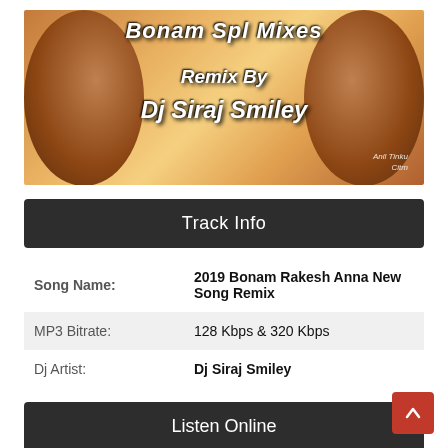[Figure (illustration): Banner image with two leopard/tiger heads on left and right sides on a warm golden-orange background, with stylized italic text reading 'Bonam Spl Mixes Remix By Dj Siraj Smiley' and watermark 'Anil Tinku Citm' in bottom right]
Track Info
| Song Name: | 2019 Bonam Rakesh Anna New Song Remix |
| MP3 Bitrate: | 128 Kbps & 320 Kbps |
| Dj Artist: | Dj Siraj Smiley |
Listen Online